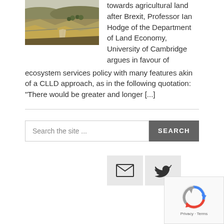[Figure (photo): Landscape photo of agricultural land with a winding road or path through hilly terrain with dry grass and trees in the background]
towards agricultural land after Brexit, Professor Ian Hodge of the Department of Land Economy, University of Cambridge argues in favour of ecosystem services policy with many features akin of a CLLD approach, as in the following quotation: "There would be greater and longer [...]
Search the site ...
[Figure (infographic): Email icon and Twitter bird icon buttons in light grey boxes]
[Figure (other): reCAPTCHA widget showing Google reCAPTCHA logo with Privacy and Terms links]